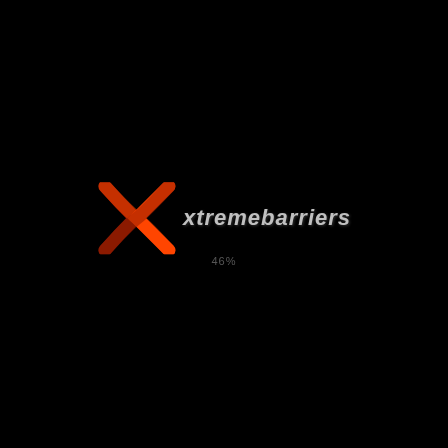[Figure (logo): Xtremebarriers logo: a stylized orange X mark on the left, followed by the italic gray wordmark 'xtremebarriers', centered on a black background with a loading percentage '46%' below]
46%